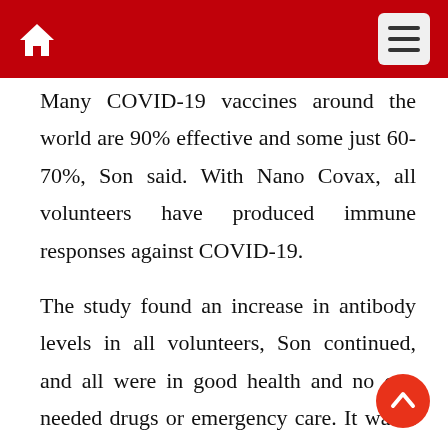Many COVID-19 vaccines around the world are 90% effective and some just 60-70%, Son said. With Nano Covax, all volunteers have produced immune responses against COVID-19.
The study found an increase in antibody levels in all volunteers, Son continued, and all were in good health and no one needed drugs or emergency care. It was a very encouraging result and the vaccine is safe for humans so far, he emphasised.
Another domestic vaccine candidate, Covivac from the Institute of Vaccines and Biological Medical (IVAC) in Nha Trang city, Khanh Hoa province, is preparing for Phase 1 trial data to be reviewed by the Ministry of Health and